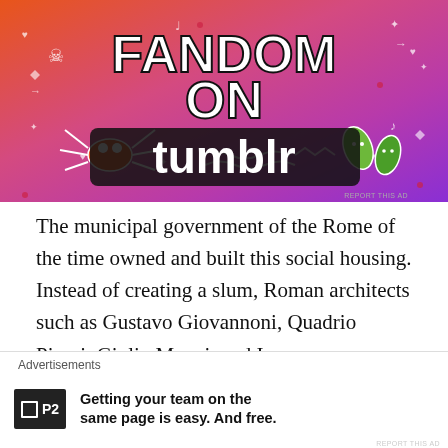[Figure (illustration): Tumblr advertisement banner with orange-to-purple gradient background, white doodle illustrations (skull, crab, leaves, stars, music notes, hearts), and white bold text reading 'FANDOM ON tumblr']
The municipal government of the Rome of the time owned and built this social housing. Instead of creating a slum, Roman architects such as Gustavo Giovannoni, Quadrio Pirani, Giulio Magni, and Innocenzo Sabbatini developed a new way of creating housing integrating a mix of uses. They were able to harmonize “the construction of
[Figure (illustration): Bottom advertisement bar with P2 logo and tagline 'Getting your team on the same page is easy. And free.']